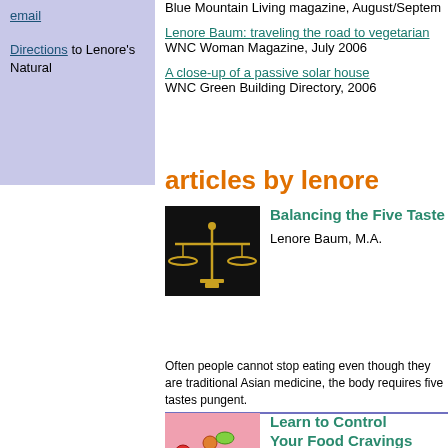email
Directions to Lenore's Natural
Blue Mountain Living magazine, August/September
Lenore Baum: traveling the road to vegetarian
WNC Woman Magazine, July 2006
A close-up of a passive solar house
WNC Green Building Directory, 2006
articles by lenore
[Figure (photo): Gold balance scale on black background]
Balancing the Five Taste
Lenore Baum, M.A.
Often people cannot stop eating even though they are traditional Asian medicine, the body requires five tastes pungent.
[Figure (photo): Colorful candy and jelly beans on pink background]
Learn to Control Your Food Cravings
Lenore Baum, M.A.